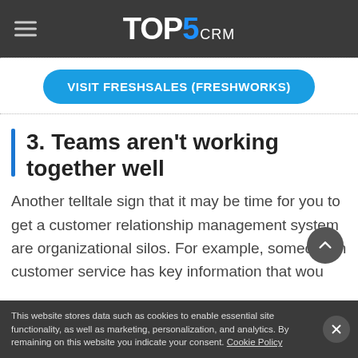TOP5 CRM
[Figure (other): Blue rounded button with white bold text: VISIT FRESHSALES (FRESHWORKS)]
3. Teams aren't working together well
Another telltale sign that it may be time for you to get a customer relationship management system are organizational silos. For example, someone in customer service has key information that wou
This website stores data such as cookies to enable essential site functionality, as well as marketing, personalization, and analytics. By remaining on this website you indicate your consent. Cookie Policy